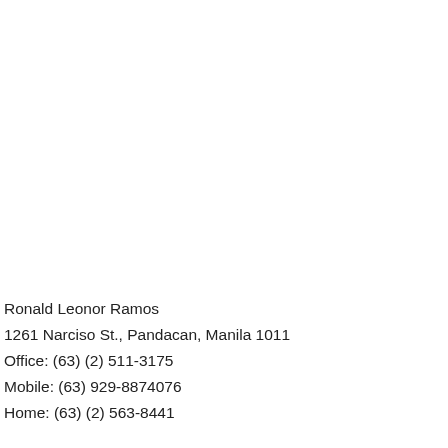Ronald Leonor Ramos
1261 Narciso St., Pandacan, Manila 1011
Office: (63) (2) 511-3175
Mobile: (63) 929-8874076
Home: (63) (2) 563-8441